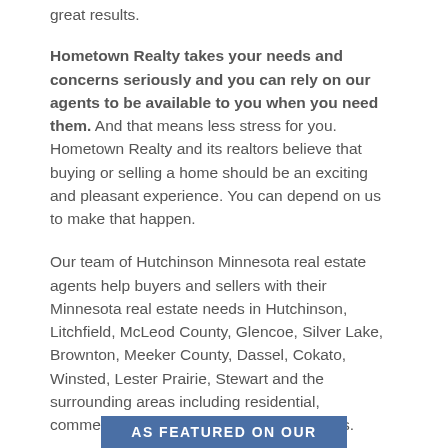great results.
Hometown Realty takes your needs and concerns seriously and you can rely on our agents to be available to you when you need them. And that means less stress for you. Hometown Realty and its realtors believe that buying or selling a home should be an exciting and pleasant experience. You can depend on us to make that happen.
Our team of Hutchinson Minnesota real estate agents help buyers and sellers with their Minnesota real estate needs in Hutchinson, Litchfield, McLeod County, Glencoe, Silver Lake, Brownton, Meeker County, Dassel, Cokato, Winsted, Lester Prairie, Stewart and the surrounding areas including residential, commercial, agricultural and lake properties.
Browse our web site for more information about Hutchinson, MN property listings, McLeod County homes for sale, and Hutchinson, Minnesota real estate.
AS FEATURED ON OUR